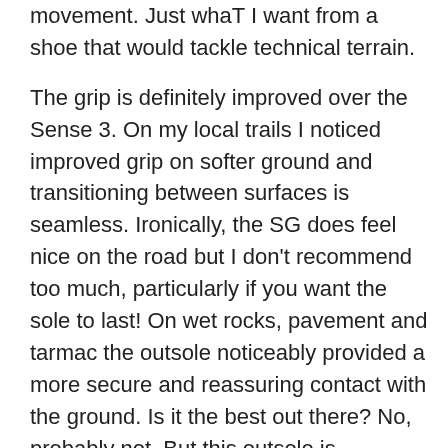movement. Just whaT I want from a shoe that would tackle technical terrain.
The grip is definitely improved over the Sense 3. On my local trails I noticed improved grip on softer ground and transitioning between surfaces is seamless. Ironically, the SG does feel nice on the road but I don't recommend too much, particularly if you want the sole to last! On wet rocks, pavement and tarmac the outsole noticeably provided a more secure and reassuring contact with the ground. Is it the best out there? No, probably not. But this outsole is designed for ultra and mixed terrain, soft ground just being one aspect. I'd have no problems with the SG being my 'go to' trail shoe for any race or training run.
On that note, is it really an ultra shoe, by that I mean could I run for hours and hours in it? No I couldn't. I love the